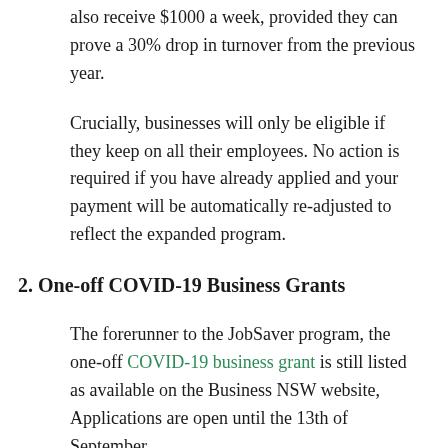also receive $1000 a week, provided they can prove a 30% drop in turnover from the previous year.
Crucially, businesses will only be eligible if they keep on all their employees. No action is required if you have already applied and your payment will be automatically re-adjusted to reflect the expanded program.
2. One-off COVID-19 Business Grants
The forerunner to the JobSaver program, the one-off COVID-19 business grant is still listed as available on the Business NSW website, Applications are open until the 13th of September. This grant is to help businesses cover costs accrued during the first 3 weeks of lockdown. Three different